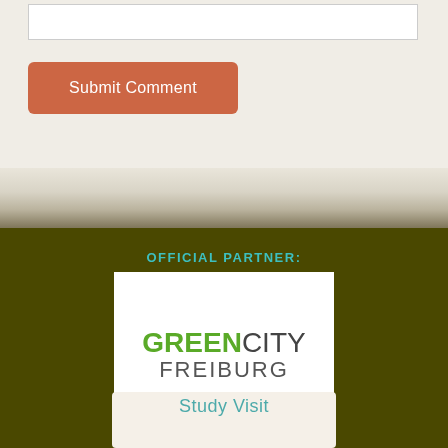[Figure (screenshot): Web form textarea input box (empty), white background]
[Figure (screenshot): Orange/terracotta rounded Submit Comment button]
OFFICIAL PARTNER:
[Figure (logo): GreenCity Freiburg logo — GREEN in bold green, CITY in dark gray regular weight, FREIBURG below in spaced dark gray letters, on white background]
[Figure (logo): Study Visit logo/badge at bottom, partially visible, teal text on light background with stamp motif]